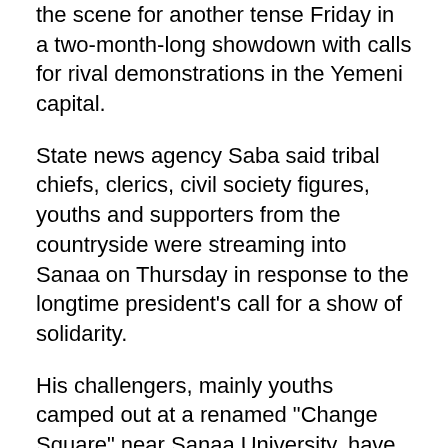the scene for another tense Friday in a two-month-long showdown with calls for rival demonstrations in the Yemeni capital.
State news agency Saba said tribal chiefs, clerics, civil society figures, youths and supporters from the countryside were streaming into Sanaa on Thursday in response to the longtime president's call for a show of solidarity.
His challengers, mainly youths camped out at a renamed "Change Square" near Sanaa University, have also urged demonstrators to take to the streets but called off a planned march on the presidential palace for fear of violence.
"We don't want a confrontation with the president's supporters. Many of his people tomorrow will be out-of-uniform soldiers and armed tribesmen," Adel al-Walibi, a leader of the protests, told AFP.
He said the protestors would hold marches around the